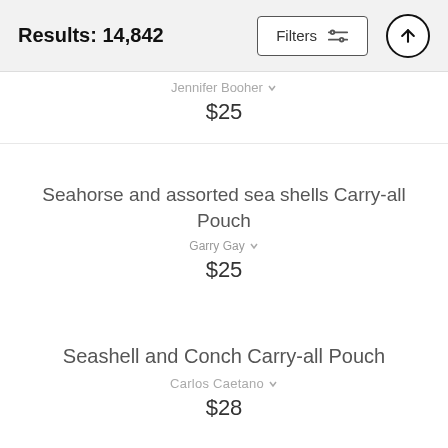Results: 14,842
Jennifer Booher
$25
Seahorse and assorted sea shells Carry-all Pouch
Garry Gay
$25
Seashell and Conch Carry-all Pouch
Carlos Caetano
$28